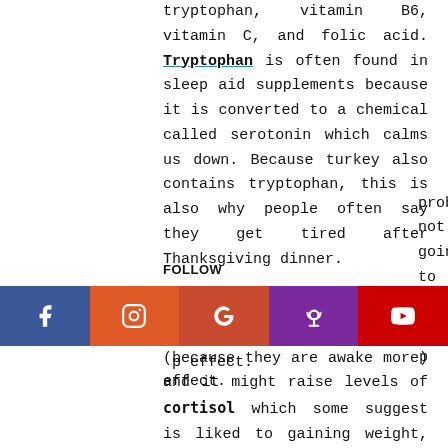tryptophan, vitamin B6, vitamin C, and folic acid. Tryptophan is often found in sleep aid supplements because it is converted to a chemical called serotonin which calms us down. Because turkey also contains tryptophan, this is also why people often say they get tired after Thanksgiving dinner.

Lack of sleep might cause people to eat more food (because they are awake more) and it might raise levels of cortisol which some suggest is liked to gaining weight, but the amount of tryptophan in a typical turkey dinner (and likely not going to cause a sleep effect.
[Figure (other): Social media follow bar with icons for Facebook (blue), Instagram (orange), Google (red-orange), Podcast/Apple (purple), YouTube (red), with FOLLOW label above]